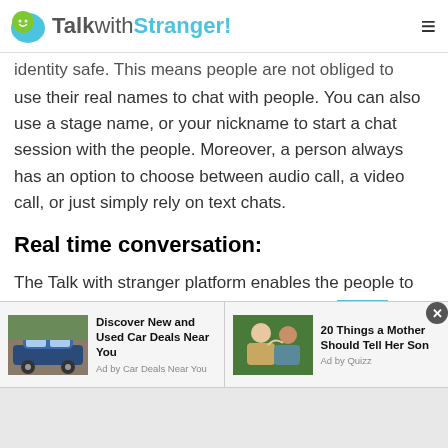TalkwithStranger!
identity safe. This means people are not obliged to use their real names to chat with people. You can also use a stage name, or your nickname to start a chat session with the people. Moreover, a person always has an option to choose between audio call, a video call, or just simply rely on text chats.
Real time conversation:
The Talk with stranger platform enables the people to video chat with random people of Hungary in real time. This means that this app does not